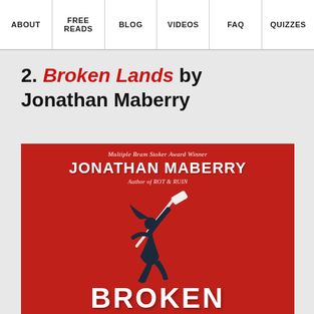ABOUT | FREE READS | BLOG | VIDEOS | FAQ | QUIZZES
2. Broken Lands by Jonathan Maberry
[Figure (illustration): Book cover of 'Broken Lands' by Jonathan Maberry. Red background with a dark silhouetted figure swinging a weapon (hockey stick/guitar). Text: 'Multiple Bram Stoker Award Winner', 'JONATHAN MABERRY', 'Author of ROT & RUIN', and 'BROKEN' visible at bottom in large white distressed letters.]